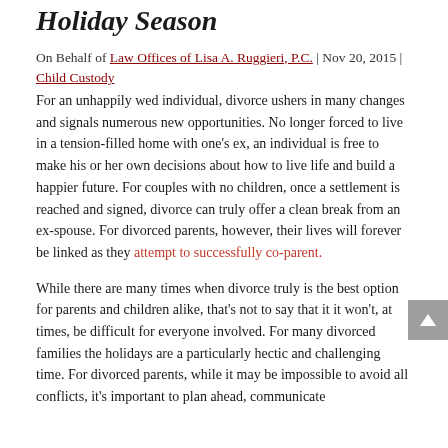Holiday Season
On Behalf of Law Offices of Lisa A. Ruggieri, P.C. | Nov 20, 2015 | Child Custody
For an unhappily wed individual, divorce ushers in many changes and signals numerous new opportunities. No longer forced to live in a tension-filled home with one's ex, an individual is free to make his or her own decisions about how to live life and build a happier future. For couples with no children, once a settlement is reached and signed, divorce can truly offer a clean break from an ex-spouse. For divorced parents, however, their lives will forever be linked as they attempt to successfully co-parent.
While there are many times when divorce truly is the best option for parents and children alike, that's not to say that it it won't, at times, be difficult for everyone involved. For many divorced families the holidays are a particularly hectic and challenging time. For divorced parents, while it may be impossible to avoid all conflicts, it's important to plan ahead, communicate